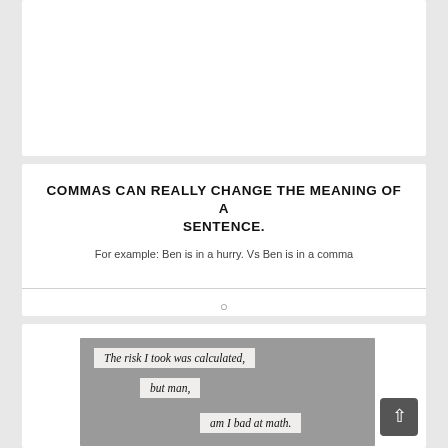[Figure (other): Blank white card area at the top of the page]
COMMAS CAN REALLY CHANGE THE MEANING OF A SENTENCE.
For example: Ben is in a hurry. Vs Ben is in a comma
[Figure (photo): Meme image on grey background with three text label strips reading: 'The risk I took was calculated,' / 'but man,' / 'am I bad at math.']